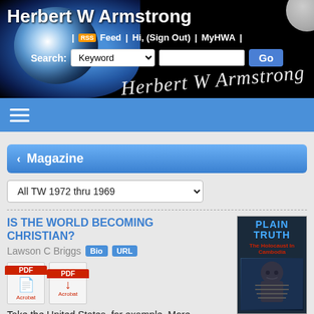Herbert W Armstrong
| Feed | Hi, (Sign Out) | MyHWA |
Search: Keyword [Go]
[Figure (screenshot): Website navigation bar with hamburger menu icon on blue background]
< Magazine
All TW 1972 thru 1969
IS THE WORLD BECOMING CHRISTIAN?
Lawson C Briggs
Take the United States, for example. More Americans attend church in an average week than
[Figure (photo): Plain Truth magazine cover showing 'The Holocaust in Cambodia' with dark imagery]